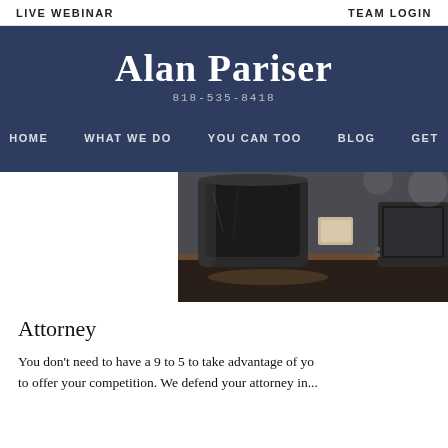LIVE WEBINAR    TEAM LOGIN
Alan Pariser
818-535-8418
HOME   WHAT WE DO   YOU CAN TOO   BLOG   GET
[Figure (photo): A dark coffee mug on a desk with a laptop visible in the background, photographed close-up from a low angle in moody lighting.]
Attorney
You don't need to have a 9 to 5 to take advantage of yo... to offer your competition. We defend your attorney in...